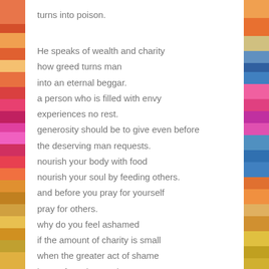turns into poison.

He speaks of wealth and charity
how greed turns man
into an eternal beggar.
a person who is filled with envy
experiences no rest.
generosity should be to give even before
the deserving man requests.
nourish your body with food
nourish your soul by feeding others.
and before you pray for yourself
pray for others.
why do you feel ashamed
if the amount of charity is small
when the greater act of shame
is to refuse the needy.